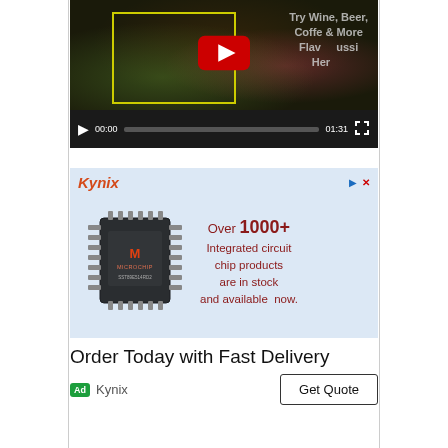[Figure (screenshot): YouTube video player showing a food video thumbnail with text 'Try Wine, Beer, Coffee & More Flavours Here' overlaid, with a red YouTube play button in center. Yellow rectangle outline visible on thumbnail. Video controls show 00:00 timestamp and 01:31 duration.]
[Figure (screenshot): Kynix advertisement banner with light blue background. Shows Kynix logo in red italic, a microchip image (Microchip brand, SST series), and text: 'Over 1000+ Integrated circuit chip products are in stock and available now.' Ad icons in top right corner.]
Order Today with Fast Delivery
Ad Kynix
Get Quote